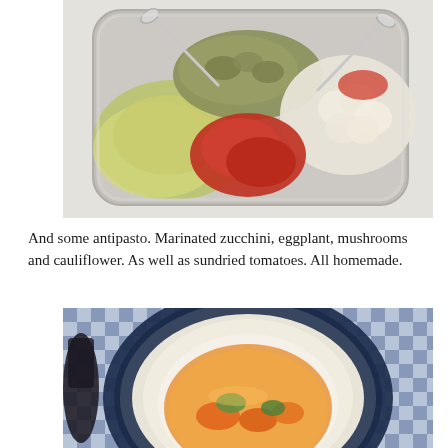[Figure (photo): A glass tray filled with various antipasto items: marinated zucchini, eggplant, mushrooms, cauliflower, and sundried tomatoes, with serving spoons, on a white tablecloth.]
And some antipasto. Marinated zucchini, eggplant, mushrooms and cauliflower. As well as sundried tomatoes. All homemade.
[Figure (photo): A bowl of vegetable soup with carrots and other vegetables in a golden broth, served on a blue and white checkered plate.]